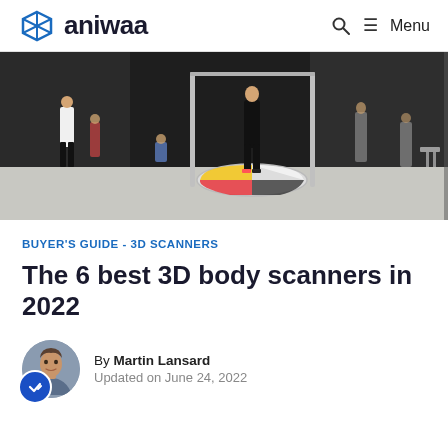aniwaa — Menu
[Figure (photo): A person standing on a 3D body scanner turntable in a trade show setting with dark walls, other visitors visible in the background]
BUYER'S GUIDE - 3D SCANNERS
The 6 best 3D body scanners in 2022
By Martin Lansard
Updated on June 24, 2022